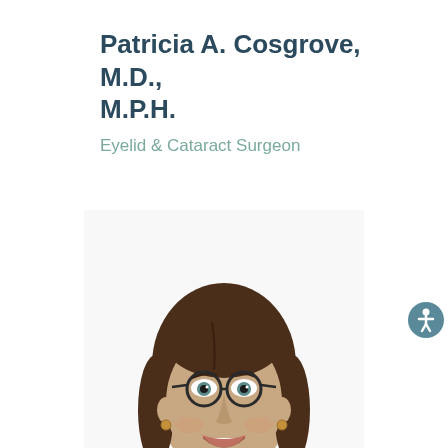Patricia A. Cosgrove, M.D., M.P.H.
Eyelid & Cataract Surgeon
[Figure (photo): Professional headshot of Dr. Patricia A. Cosgrove, a woman with shoulder-length brown hair, round dark-rimmed glasses, small hoop earrings, smiling, wearing a light blue top, white background.]